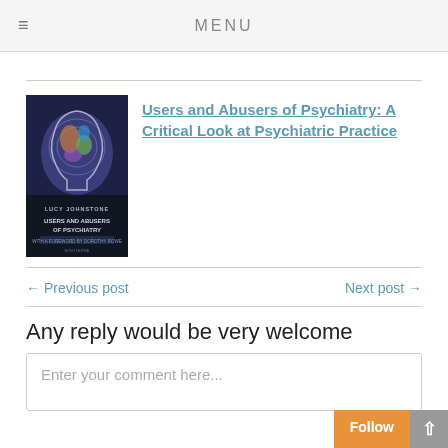MENU
[Figure (photo): Book cover of 'Users and Abusers of Psychiatry' by Lucy Johnstone, showing a stylized human head with a globe/world map pattern.]
Users and Abusers of Psychiatry: A Critical Look at Psychiatric Practice
← Previous post
Next post →
Any reply would be very welcome
Enter your comment here...